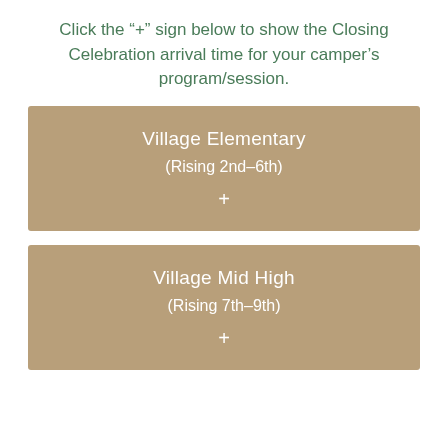Click the “+” sign below to show the Closing Celebration arrival time for your camper’s program/session.
Village Elementary (Rising 2nd–6th) +
Village Mid High (Rising 7th–9th) +